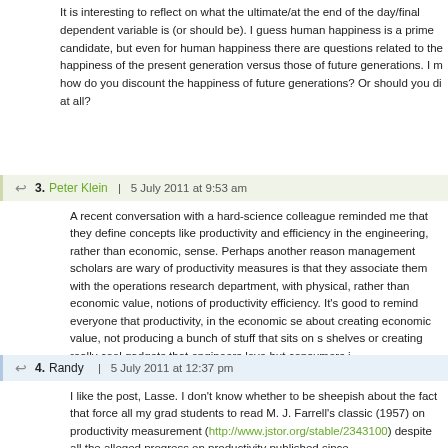It is interesting to reflect on what the ultimate/at the end of the day/final dependent variable is (or should be). I guess human happiness is a prime candidate, but even for human happiness there are questions related to the happiness of the present generation versus those of future generations. I m how do you discount the happiness of future generations? Or should you di at all?
3. Peter Klein | 5 July 2011 at 9:53 am
A recent conversation with a hard-science colleague reminded me that they define concepts like productivity and efficiency in the engineering, rather than economic, sense. Perhaps another reason management scholars are wary of productivity measures is that they associate them with the operations research department, with physical, rather than economic value, notions of productivity efficiency. It's good to remind everyone that productivity, in the economic se about creating economic value, not producing a bunch of stuff that sits on shelves or creating really cool gadgets that engineers love but consumers i
4. Randy | 5 July 2011 at 12:37 pm
I like the post, Lasse. I don't know whether to be sheepish about the fact that force all my grad students to read M. J. Farrell's classic (1957) on productivity measurement (http://www.jstor.org/stable/2343100) despite all the alleged progress on productivity published since.